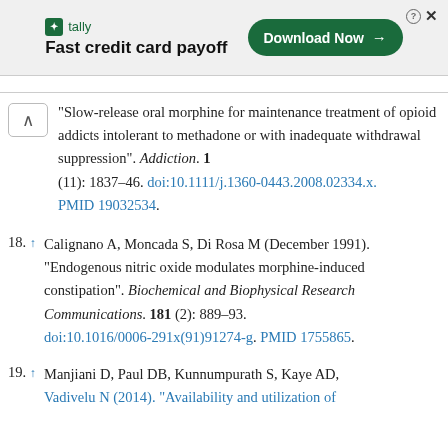[Figure (other): Advertisement banner for Tally app - Fast credit card payoff with Download Now button]
"Slow-release oral morphine for maintenance treatment of opioid addicts intolerant to methadone or with inadequate withdrawal suppression". Addiction. 103 (11): 1837–46. doi:10.1111/j.1360-0443.2008.02334.x. PMID 19032534.
18. ↑ Calignano A, Moncada S, Di Rosa M (December 1991). "Endogenous nitric oxide modulates morphine-induced constipation". Biochemical and Biophysical Research Communications. 181 (2): 889–93. doi:10.1016/0006-291x(91)91274-g. PMID 1755865.
19. ↑ Manjiani D, Paul DB, Kunnumpurath S, Kaye AD, Vadivelu N (2014). "Availability and utilization of